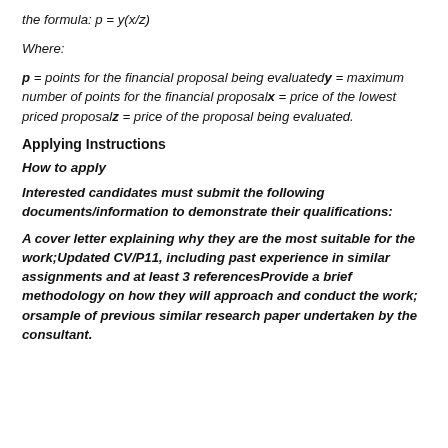the formula: p = y(x/z)
Where:
p = points for the financial proposal being evaluatedy = maximum number of points for the financial proposalx = price of the lowest priced proposalz = price of the proposal being evaluated.
Applying Instructions
How to apply
Interested candidates must submit the following documents/information to demonstrate their qualifications:
A cover letter explaining why they are the most suitable for the work;Updated CV/P11, including past experience in similar assignments and at least 3 referencesProvide a brief methodology on how they will approach and conduct the work; orsample of previous similar research paper undertaken by the consultant.